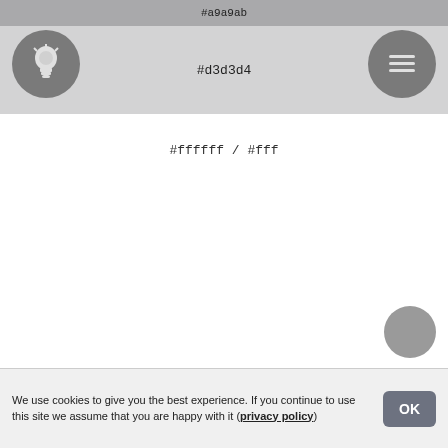#a9a9ab
#d3d3d4
#ffffff / #fff
We use cookies to give you the best experience. If you continue to use this site we assume that you are happy with it (privacy policy)